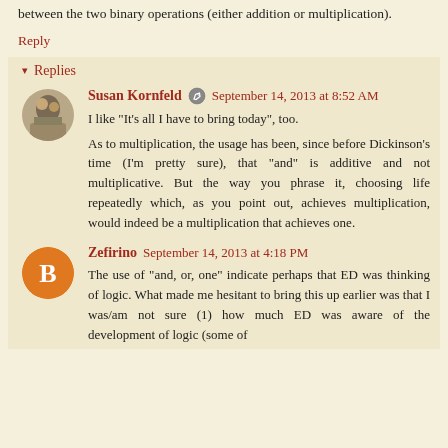between the two binary operations (either addition or multiplication).
Reply
Replies
Susan Kornfeld   September 14, 2013 at 8:52 AM
I like "It's all I have to bring today", too.
As to multiplication, the usage has been, since before Dickinson's time (I'm pretty sure), that "and" is additive and not multiplicative. But the way you phrase it, choosing life repeatedly which, as you point out, achieves multiplication, would indeed be a multiplication that achieves one.
Zefirino   September 14, 2013 at 4:18 PM
The use of "and, or, one" indicate perhaps that ED was thinking of logic. What made me hesitant to bring this up earlier was that I was/am not sure (1) how much ED was aware of the development of logic (some of